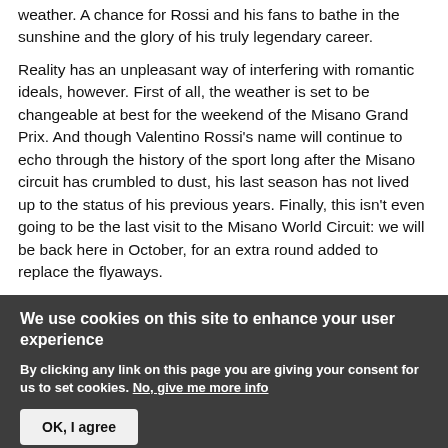weather. A chance for Rossi and his fans to bathe in the sunshine and the glory of his truly legendary career.
Reality has an unpleasant way of interfering with romantic ideals, however. First of all, the weather is set to be changeable at best for the weekend of the Misano Grand Prix. And though Valentino Rossi's name will continue to echo through the history of the sport long after the Misano circuit has crumbled to dust, his last season has not lived up to the status of his previous years. Finally, this isn't even going to be the last visit to the Misano World Circuit: we will be back here in October, for an extra round added to replace the flyaways.
We use cookies on this site to enhance your user experience
By clicking any link on this page you are giving your consent for us to set cookies. No, give me more info
OK, I agree